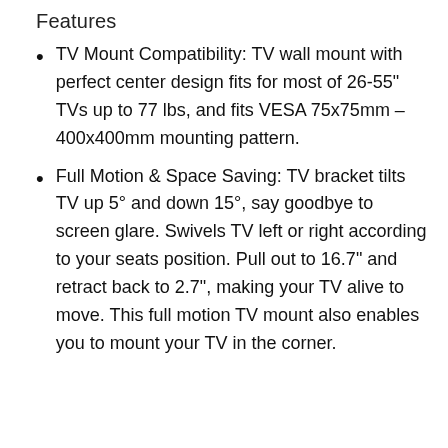Features
TV Mount Compatibility: TV wall mount with perfect center design fits for most of 26-55" TVs up to 77 lbs, and fits VESA 75x75mm – 400x400mm mounting pattern.
Full Motion & Space Saving: TV bracket tilts TV up 5° and down 15°, say goodbye to screen glare. Swivels TV left or right according to your seats position. Pull out to 16.7" and retract back to 2.7", making your TV alive to move. This full motion TV mount also enables you to mount your TV in the corner.